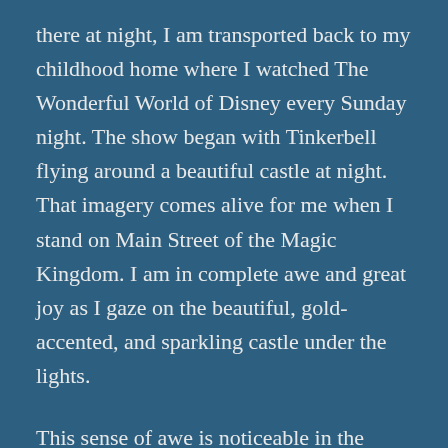there at night, I am transported back to my childhood home where I watched The Wonderful World of Disney every Sunday night. The show began with Tinkerbell flying around a beautiful castle at night. That imagery comes alive for me when I stand on Main Street of the Magic Kingdom. I am in complete awe and great joy as I gaze on the beautiful, gold-accented, and sparkling castle under the lights.
This sense of awe is noticeable in the words of John as he relays his vision of the Holy City. The angel takes him to a vantage point where the city is fully displayed before him. John provides a detailed description of the city which allows us, the readers, to feel transported to the location of John and our mind's eye is filled with the beauty described. The accuracy of the details in this